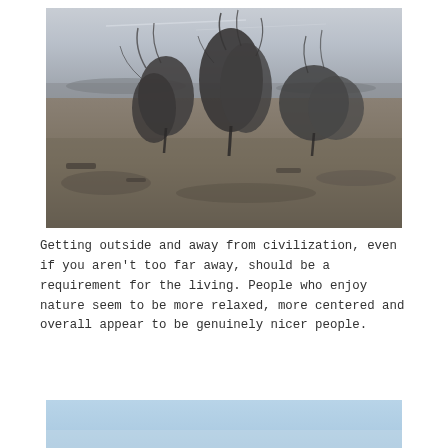[Figure (photo): Black and white photograph of windswept shrubby trees or bushes in an arid, open landscape with a flat terrain and distant hills under a partly cloudy sky.]
Getting outside and away from civilization, even if you aren't too far away, should be a requirement for the living. People who enjoy nature seem to be more relaxed, more centered and overall appear to be genuinely nicer people.
[Figure (photo): Partial view of a second photograph, appearing to show a light blue sky or water scene, cropped at the bottom of the page.]